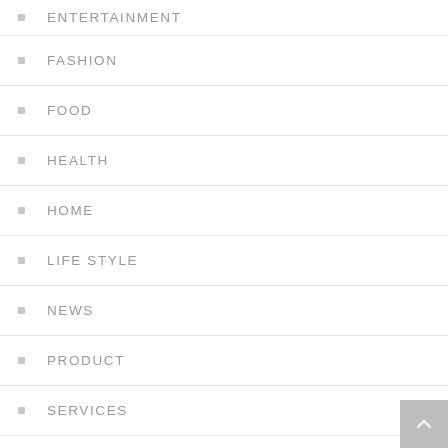ENTERTAINMENT
FASHION
FOOD
HEALTH
HOME
LIFE STYLE
NEWS
PRODUCT
SERVICES
TECH
[Figure (illustration): Back to top button arrow icon, grey square background with upward chevron arrow]